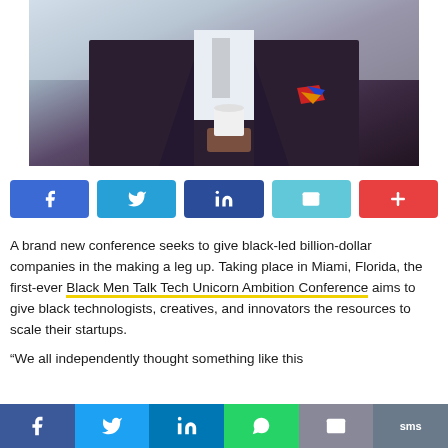[Figure (photo): Photo of a person in a dark suit jacket holding a white cup, with a colorful pocket square visible]
[Figure (infographic): Social share buttons row: Facebook (blue), Twitter (light blue), LinkedIn (dark blue), Email (cyan), Plus/more (red)]
A brand new conference seeks to give black-led billion-dollar companies in the making a leg up. Taking place in Miami, Florida, the first-ever Black Men Talk Tech Unicorn Ambition Conference aims to give black technologists, creatives, and innovators the resources to scale their startups.
“We all independently thought something like this
[Figure (infographic): Bottom social share bar with Facebook, Twitter, LinkedIn, WhatsApp, Email, SMS buttons]